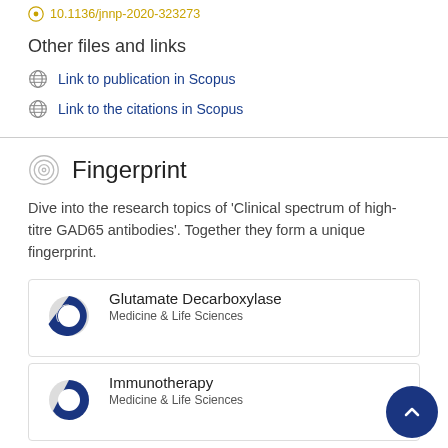10.1136/jnnp-2020-323273
Other files and links
Link to publication in Scopus
Link to the citations in Scopus
Fingerprint
Dive into the research topics of 'Clinical spectrum of high-titre GAD65 antibodies'. Together they form a unique fingerprint.
Glutamate Decarboxylase
Medicine & Life Sciences
Immunotherapy
Medicine & Life Sciences